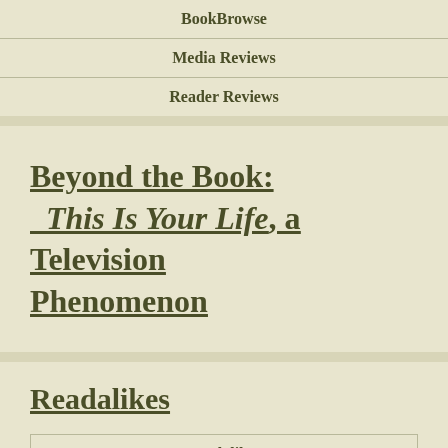| BookBrowse |
| Media Reviews |
| Reader Reviews |
Beyond the Book: This Is Your Life, a Television Phenomenon
Readalikes
| Readalikes |
| Genres & Themes |